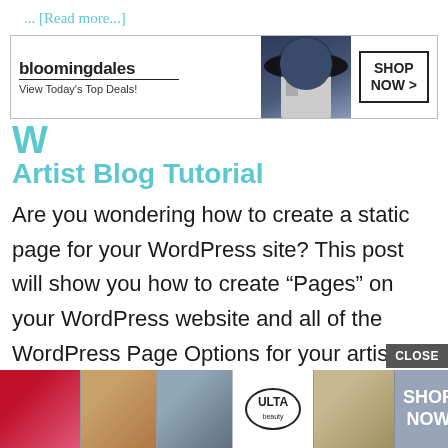... [Read more...]
[Figure (photo): Bloomingdale's advertisement banner with woman wearing wide-brim hat. Text: bloomingdales, View Today's Top Deals!, SHOP NOW >]
W... Artist Blog Tutorial
Are you wondering how to create a static page for your WordPress site? This post will show you how to create “Pages” on your WordPress website and all of the WordPress Page Options for your artist blog. WordPress Pages And
[Figure (photo): ULTA beauty advertisement banner with makeup photos (lips, brush, eye), ULTA logo, and SHOP NOW button. CLOSE button visible.]